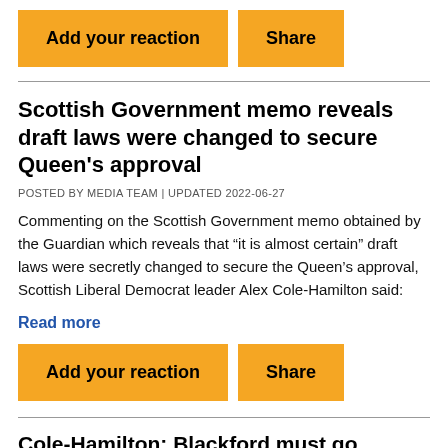[Figure (other): Two orange buttons: 'Add your reaction' and 'Share']
Scottish Government memo reveals draft laws were changed to secure Queen's approval
POSTED BY MEDIA TEAM | UPDATED 2022-06-27
Commenting on the Scottish Government memo obtained by the Guardian which reveals that “it is almost certain” draft laws were secretly changed to secure the Queen’s approval, Scottish Liberal Democrat leader Alex Cole-Hamilton said:
Read more
[Figure (other): Two orange buttons: 'Add your reaction' and 'Share']
Cole-Hamilton: Blackford must go